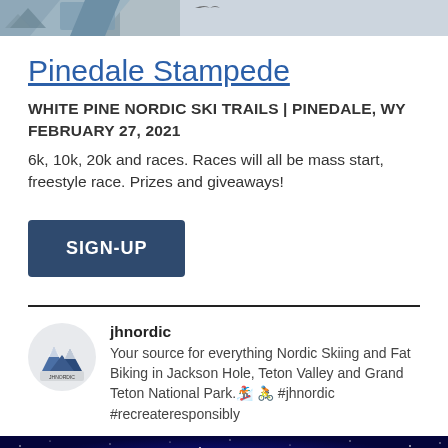[Figure (photo): Top cropped photo of a skier on snowy mountain terrain with mountains in background]
Pinedale Stampede
WHITE PINE NORDIC SKI TRAILS | PINEDALE, WY
FEBRUARY 27, 2021
6k, 10k, 20k and races. Races will all be mass start, freestyle race. Prizes and giveaways!
[Figure (other): SIGN-UP button in dark navy blue]
jhnordic
Your source for everything Nordic Skiing and Fat Biking in Jackson Hole, Teton Valley and Grand Teton National Park. 🏂 🚴 #jhnordic #recreateresponsibly
[Figure (photo): Night sky starry background in deep blue/indigo tones]